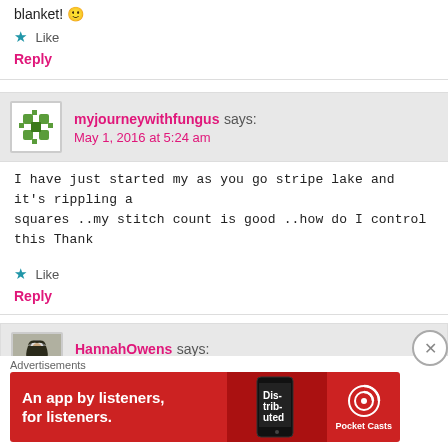blanket! 🙂
★ Like
Reply
myjourneywithfungus says: May 1, 2016 at 5:24 am
I have just started my as you go stripe lake and it's rippling a squares ..my stitch count is good ..how do I control this Thank
★ Like
Reply
HannahOwens says: May 1, 2016 at 3:13 pm
Advertisements
[Figure (screenshot): Pocket Casts ad banner: red background with text 'An app by listeners, for listeners.' and phone image with Pocket Casts logo]